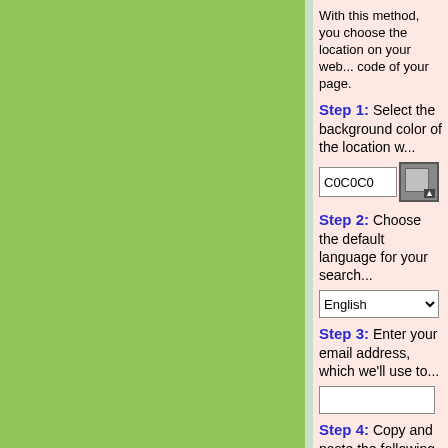With this method, you choose the location on your web... code of your page.
Step 1: Select the background color of the location w...
C0C0C0 [color picker button]
Step 2: Choose the default language for your search...
English [dropdown]
Step 3: Enter your email address, which we'll use to...
[email input field]
Step 4: Copy and paste the following HTML code int... search bar to appear. Be careful not to change the cod... affiliate program.
<!-- START OF AFFILIATE PROGRAM CODE -->
<div align="center" style="width:168px; height:270px; margi...
<iframe frameborder="0" scrolling="no" src="https://www.ins...
=%23C0C0C0&amp;l=en" style="height:250px; width:166p...
<a href="https://www.instantworldbooking.com" target="_bla...
nstant World Booking" style="font-family:'Arial Narrow','Taho...
nstant World Booking</a> &nbsp; <a href="https://www.ins...